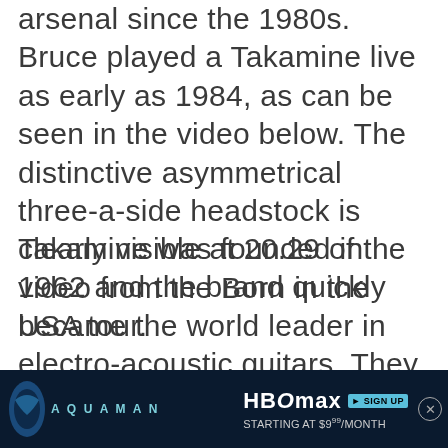arsenal since the 1980s. Bruce played a Takamine live as early as 1984, as can be seen in the video below. The distinctive asymmetrical three-a-side headstock is clearly visible at 20.29 of the video from the Born in the USA tour.
Takamine was founded in 1962 and the brand quickly became the world leader in electro-acoustic guitars. They pioneered the preamplifier-equalizer component to their acoustic guitars, enabling performers playing larger venues to capture the sound of their acoustic
[Figure (other): Advertisement banner for Aquaman on HBO Max, showing HBO Max logo with 'SIGN UP' button and text 'STARTING AT $9/MONTH', with Aquaman movie branding on a dark blue ocean background. A close (X) button appears on the right.]